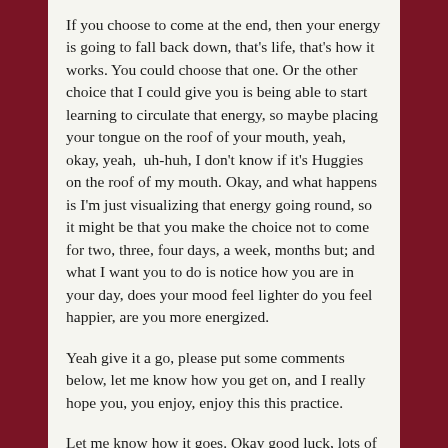If you choose to come at the end, then your energy is going to fall back down, that's life, that's how it works. You could choose that one. Or the other choice that I could give you is being able to start learning to circulate that energy, so maybe placing your tongue on the roof of your mouth, yeah, okay, yeah,  uh-huh, I don't know if it's Huggies on the roof of my mouth. Okay, and what happens is I'm just visualizing that energy going round, so it might be that you make the choice not to come for two, three, four days, a week, months but; and what I want you to do is notice how you are in your day, does your mood feel lighter do you feel happier, are you more energized.
Yeah give it a go, please put some comments below, let me know how you get on, and I really hope you, you enjoy, enjoy this this practice.
Let me know how it goes. Okay good luck, lots of love, more saving, take care, blessings. Bye-bye.